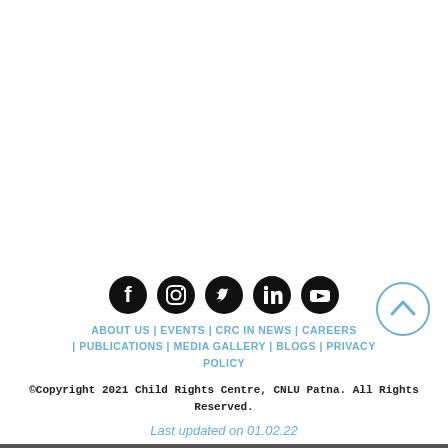[Figure (other): Social media icons: Facebook, Instagram, Twitter, LinkedIn, YouTube]
ABOUT US | EVENTS | CRC IN NEWS | CAREERS | PUBLICATIONS | MEDIA GALLERY | BLOGS | PRIVACY POLICY
©Copyright 2021 Child Rights Centre, CNLU Patna. All Rights Reserved.
Last updated on 01.02.22